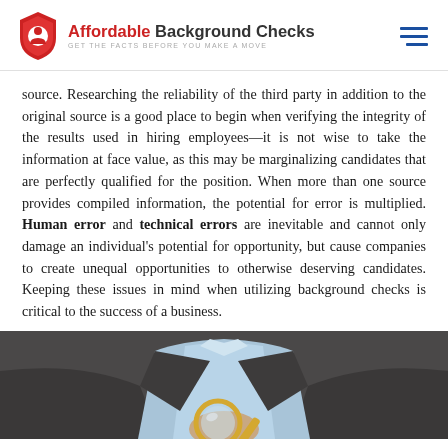Affordable Background Checks — GET THE FACTS BEFORE YOU MAKE A MOVE
source. Researching the reliability of the third party in addition to the original source is a good place to begin when verifying the integrity of the results used in hiring employees—it is not wise to take the information at face value, as this may be marginalizing candidates that are perfectly qualified for the position. When more than one source provides compiled information, the potential for error is multiplied. Human error and technical errors are inevitable and cannot only damage an individual's potential for opportunity, but cause companies to create unequal opportunities to otherwise deserving candidates. Keeping these issues in mind when utilizing background checks is critical to the success of a business.
[Figure (photo): A person in a dark suit and light blue shirt holding a magnifying glass, photographed from the chest down.]